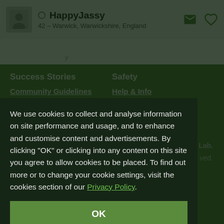HappyJassy – 42 – Warwick, Warwickshire, England
Success Stories
Safety
Community Guidelines
Help & Info
We use cookies to collect and analyse information on site performance and usage, and to enhance and customise content and advertisements. By clicking "OK" or clicking into any content on this site you agree to allow cookies to be placed. To find out more or to change your cookie settings, visit the cookies section of our Privacy Policy.
OK